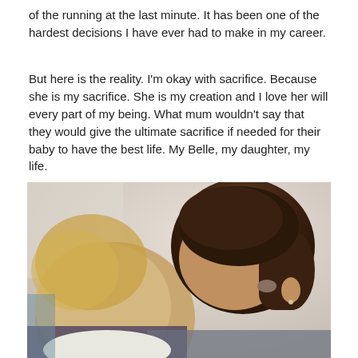of the running at the last minute. It has been one of the hardest decisions I have ever had to make in my career.
But here is the reality. I'm okay with sacrifice. Because she is my sacrifice. She is my creation and I love her will every part of my being. What mum wouldn't say that they would give the ultimate sacrifice if needed for their baby to have the best life. My Belle, my daughter, my life.
[Figure (photo): A woman with dark hair in a ponytail leaning her head down toward a baby/toddler with blonde hair, their heads touching in an intimate moment. Background is a light neutral wall.]